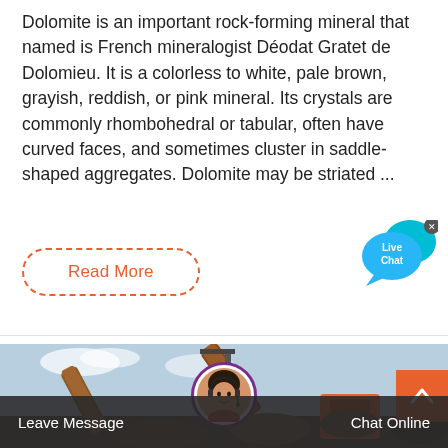Dolomite is an important rock-forming mineral that named is French mineralogist Déodat Gratet de Dolomieu. It is a colorless to white, pale brown, grayish, reddish, or pink mineral. Its crystals are commonly rhombohedral or tabular, often have curved faces, and sometimes cluster in saddle-shaped aggregates. Dolomite may be striated ...
[Figure (other): Live Chat speech bubble icon in cyan/blue color with 'Live Chat' text and a close (x) button]
Read More
[Figure (photo): Industrial mining or crushing equipment with conveyor belts and machinery against a light blue sky]
[Figure (photo): Customer service representative avatar with headset in a circular frame with purple border]
Leave Message
Chat Online